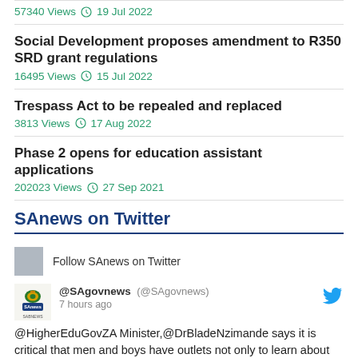57340 Views  19 Jul 2022
Social Development proposes amendment to R350 SRD grant regulations
16495 Views  15 Jul 2022
Trespass Act to be repealed and replaced
3813 Views  17 Aug 2022
Phase 2 opens for education assistant applications
202023 Views  27 Sep 2021
SAnews on Twitter
Follow SAnews on Twitter
@SAgovnews (@SAgovnews) 7 hours ago
@HigherEduGovZA Minister,@DrBladeNzimande says it is critical that men and boys have outlets not only to learn about gender equity and positive gender representation, but to be able to address their honest aspirations and b...